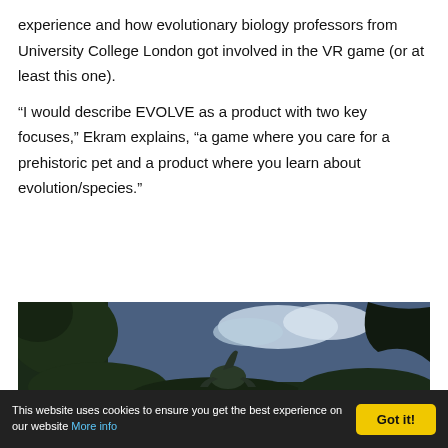experience and how evolutionary biology professors from University College London got involved in the VR game (or at least this one).
“I would describe EVOLVE as a product with two key focuses,” Ekram explains, “a game where you care for a prehistoric pet and a product where you learn about evolution/species.”
[Figure (photo): Screenshot from the EVOLVE VR game showing a prehistoric jungle scene with dinosaurs and large creature silhouettes against a cloudy sky.]
This website uses cookies to ensure you get the best experience on our website More info